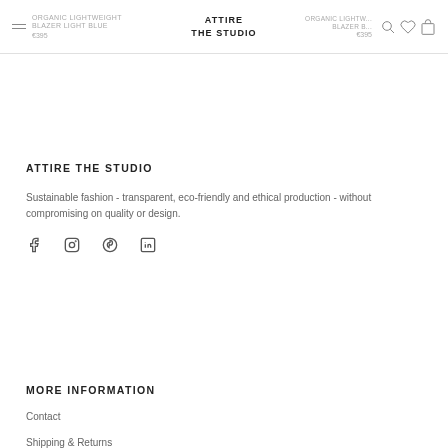ORGANIC LIGHTWEIGHT BLAZER LIGHT BLUE  |  SILK KNIT TOP BLACK  |  ATTIRE THE STUDIO  |  ORGANIC LIGHTW... BLAZER B...  |  €395  |  €395
ATTIRE THE STUDIO
Sustainable fashion - transparent, eco-friendly and ethical production - without compromising on quality or design.
[Figure (other): Social media icons: Facebook, Instagram, Pinterest, LinkedIn]
MORE INFORMATION
Contact
Shipping & Returns
Refund policy
Gift Card